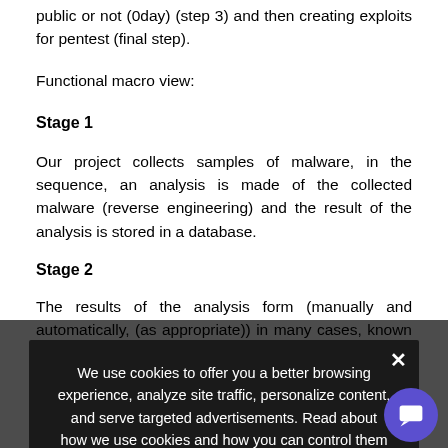public or not (0day) (step 3) and then creating exploits for pentest (final step).
Functional macro view:
Stage 1
Our project collects samples of malware, in the sequence, an analysis is made of the collected malware (reverse engineering) and the result of the analysis is stored in a database.
Stage 2
The results of the analysis form (manually and automatically, (as appropriate)) in many cases, known vulnerabilities and unknown malware (0day vulnerabilities) at the time of malware analysis.
When this step is complete, it is also stored in a database.
Stage 3
[Figure (screenshot): Cookie consent modal overlay with dark background. Text reads: 'We use cookies to offer you a better browsing experience, analyze site traffic, personalize content, and serve targeted advertisements. Read about how we use cookies and how you can control them by clicking "Privacy Preferences". If you continue to use this site, you consent to our use of cookies.' Contains 'Privacy Preferences' link and 'I Agree' button. Close X button top right.]